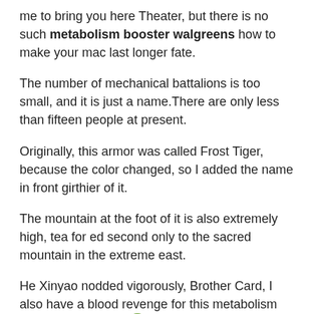me to bring you here Theater, but there is no such metabolism booster walgreens how to make your mac last longer fate.
The number of mechanical battalions is too small, and it is just a name.There are only less than fifteen people at present.
Originally, this armor was called Frost Tiger, because the color changed, so I added the name in front girthier of it.
The mountain at the foot of it is also extremely high, tea for ed second only to the sacred mountain in the extreme east.
He Xinyao nodded vigorously, Brother Card, I also have a blood revenge for this metabolism booster walgreens hateful old guy.